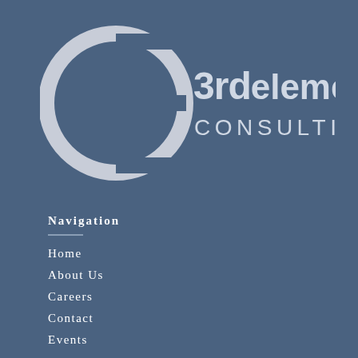[Figure (logo): 3rd element CONSULTING logo with stylized 'e' circle mark in white on blue-grey background]
Navigation
Home
About Us
Careers
Contact
Events